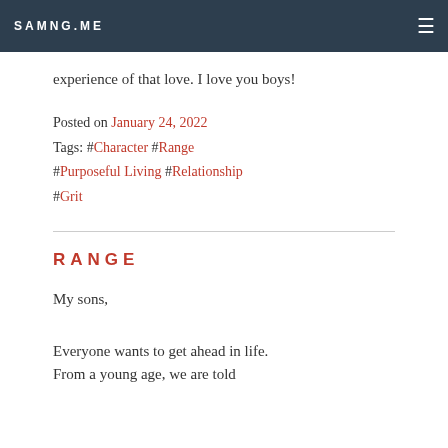SAMNG.ME
experience of that love. I love you boys!
Posted on January 24, 2022
Tags: #Character #Range #Purposeful Living #Relationship #Grit
RANGE
My sons,
Everyone wants to get ahead in life. From a young age, we are told